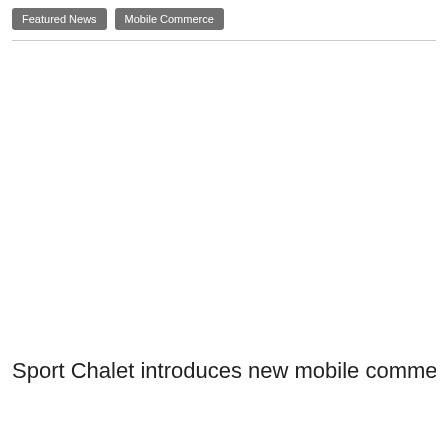Featured News | Mobile Commerce
[Figure (photo): Large image area, mostly white/blank in this crop]
Sport Chalet introduces new mobile commerce